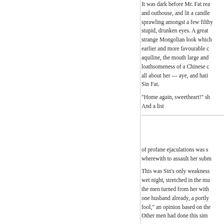It was dark before Mr. Fat rea... and outhouse, and lit a candle... sprawling amongst a few filthy... stupid, drunken eyes. A great... strange Mongolian look which... earlier and more favourable c... aquiline, the mouth large and... loathsomeness of a Chinese c... all about her — aye, and hati... Sin Fat.
“Home again, sweetheart!” sh... And a list
of profane ejaculations was s... wherewith to assault her subm...
This was Sin's only weakness... wet night, stretched in the mu... the men turned from her with... one husband already, a portly... fool,” an opinion based on the... Other men had done this sim...